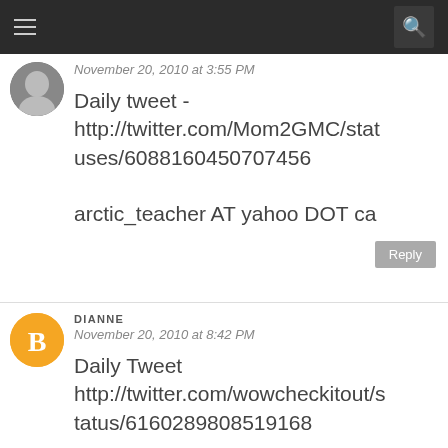November 20, 2010 at 3:55 PM
Daily tweet - http://twitter.com/Mom2GMC/statuses/6088160450707456
arctic_teacher AT yahoo DOT ca
DIANNE
November 20, 2010 at 8:42 PM
Daily Tweet http://twitter.com/wowcheckitout/status/6160289808519168